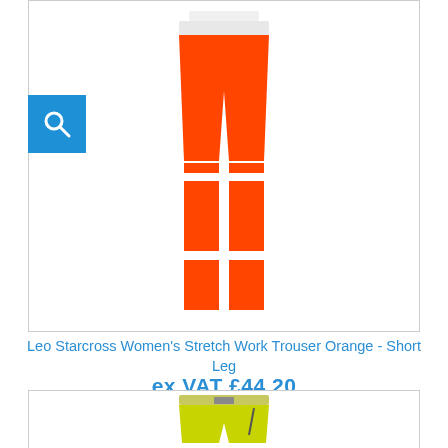[Figure (photo): Orange hi-visibility women's stretch work trousers with reflective strips, shown from waist to ankle on a white background. A blue magnifying glass search icon overlays the top-left corner of the image.]
Leo Starcross Women's Stretch Work Trouser Orange - Short Leg
ex VAT £44.20
inc VAT £53.04
ADD TO CART
[Figure (photo): Yellow/lime hi-visibility work shorts shown from waist down, partially visible, on white background.]